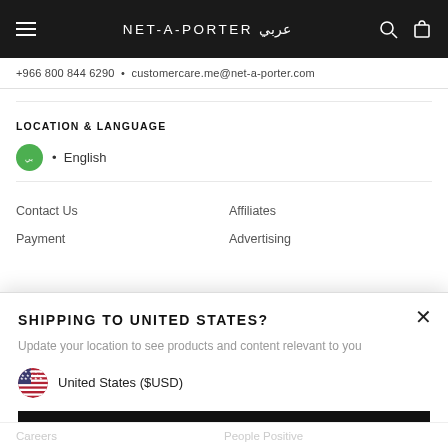NET-A-PORTER عربي
+966 800 844 6290 · customercare.me@net-a-porter.com
LOCATION & LANGUAGE
• English
Contact Us
Affiliates
Payment
Advertising
SHIPPING TO UNITED STATES?
Update your location to see products and content relevant to you
United States ($USD)
Change Location
Careers
People Positive